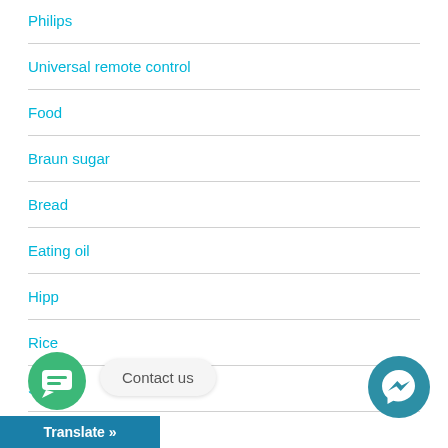Philips
Universal remote control
Food
Braun sugar
Bread
Eating oil
Hipp
Rice
Sea-salt
Contact us
Translate »